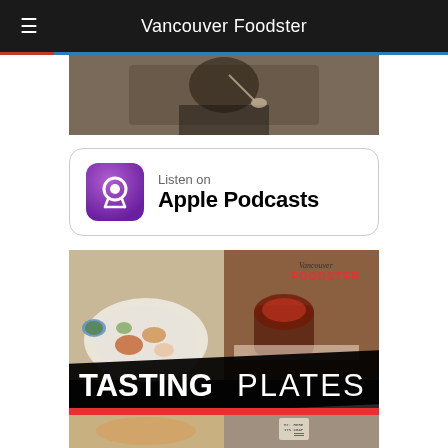Vancouver Foodster
[Figure (photo): Close-up photo of a person eating food with a fork, dark shirt visible]
[Figure (other): Listen on Apple Podcasts badge with purple podcast icon]
[Figure (other): Vancouver Foodster Tasting Plates promotional image with food photos and bold text overlay]